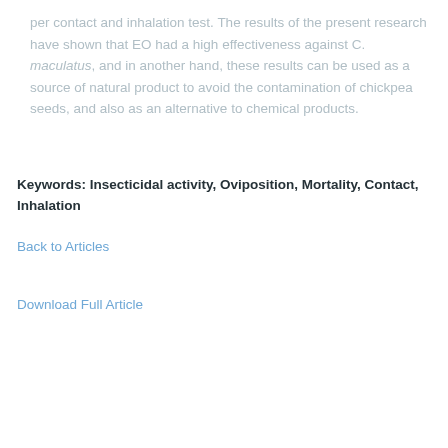per contact and inhalation test. The results of the present research have shown that EO had a high effectiveness against C. maculatus, and in another hand, these results can be used as a source of natural product to avoid the contamination of chickpea seeds, and also as an alternative to chemical products.
Keywords: Insecticidal activity, Oviposition, Mortality, Contact, Inhalation
Back to Articles
Download Full Article